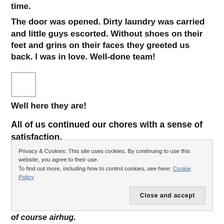time.
The door was opened. Dirty laundry was carried and little guys escorted. Without shoes on their feet and grins on their faces they greeted us back. I was in love. Well-done team!
[Figure (photo): Small square image placeholder]
Well here they are!
All of us continued our chores with a sense of satisfaction.
Time went quickly
of course airhug.
Privacy & Cookies: This site uses cookies. By continuing to use this website, you agree to their use.
To find out more, including how to control cookies, see here: Cookie Policy